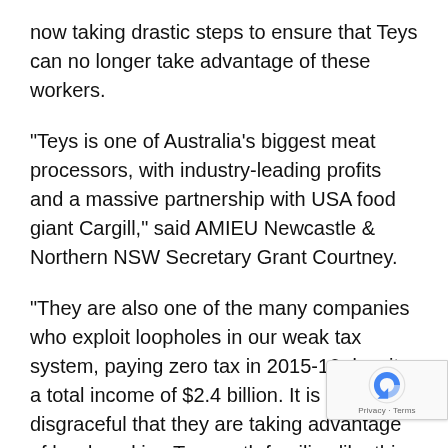now taking drastic steps to ensure that Teys can no longer take advantage of these workers.
"Teys is one of Australia's biggest meat processors, with industry-leading profits and a massive partnership with USA food giant Cargill," said AMIEU Newcastle & Northern NSW Secretary Grant Courtney.
"They are also one of the many companies who exploit loopholes in our weak tax system, paying zero tax in 2015-16 despite a total income of $2.4 billion. It is absolutely disgraceful that they are taking advantage of hard-working Tamworth families like this and we intend to do something about it."
"The rules are broken in Australia and that means